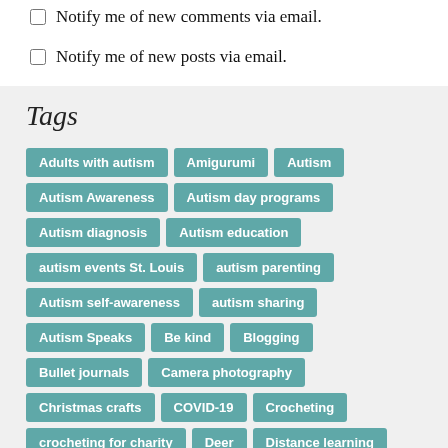Notify me of new comments via email.
Notify me of new posts via email.
Tags
Adults with autism
Amigurumi
Autism
Autism Awareness
Autism day programs
Autism diagnosis
Autism education
autism events St. Louis
autism parenting
Autism self-awareness
autism sharing
Autism Speaks
Be kind
Blogging
Bullet journals
Camera photography
Christmas crafts
COVID-19
Crocheting
crocheting for charity
Deer
Distance learning